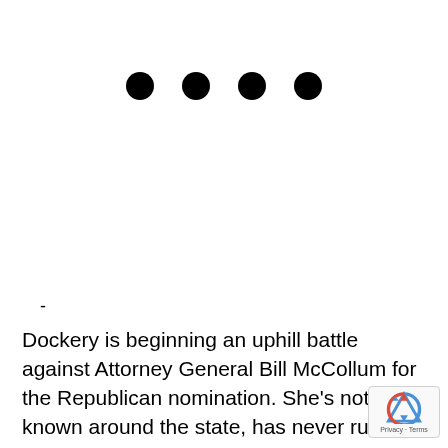[Figure (other): Four large black dots arranged in a horizontal row, serving as a section separator or decorative element.]
-
Dockery is beginning an uphill battle against Attorney General Bill McCollum for the Republican nomination. She's not well known around the state, has never run for statewide office and is facing a veteran of three statewide races who has a $2